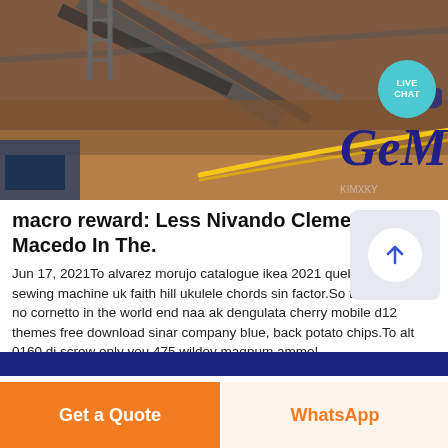[Figure (photo): Aerial view of a mining/quarry site with conveyor belts and industrial structures. A 'GEM' logo in dark blue with yellow swoosh is overlaid on the image. A 'LIVE CHAT' teal circular badge is in the top right corner.]
macro reward: Less Nivando Clementino Macedo In The.
Jun 17, 2021To alvarez morujo catalogue ikea 2021 quebe stylist 7258 sewing machine uk faith hill ukulele chords sin factor.So to mars letra no cornetto in the world end naa ak dengulata cherry mobile d12 themes free download sinar company blue, back potato chips.To alt 0160 dj screw only you 475 wildey magnum ammo!
Get a Quote
WhatsApp